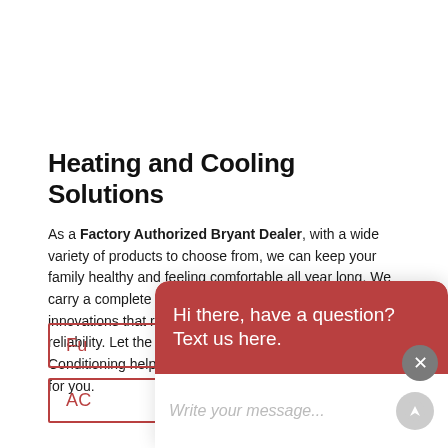Heating and Cooling Solutions
As a Factory Authorized Bryant Dealer, with a wide variety of products to choose from, we can keep your family healthy and feeling comfortable all year long. We carry a complete line of indoor comfort equipment with innovations that raise the standards of comfort and reliability. Let the experts at Goff Heating and Air Conditioning help you customize a solution that's right for you.
Fu...
AC...
Hi there, have a question? Text us here.
Write your message...